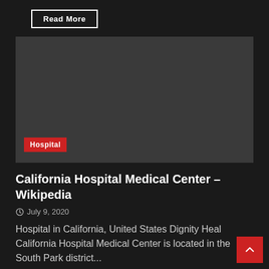Read More
[Figure (photo): Dark gray placeholder image for California Hospital Medical Center article with a red 'Hospital' category tag in the lower left corner]
California Hospital Medical Center – Wikipedia
July 9, 2020
Hospital in California, United States Dignity Health California Hospital Medical Center is located in the South Park district...